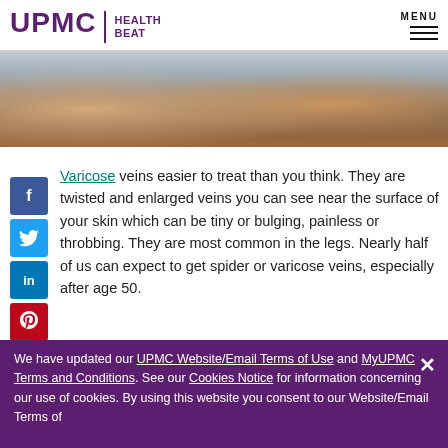UPMC | HEALTH BEAT — MENU
[Figure (photo): Close-up photo of human legs showing varicose veins near the surface of the skin, brown skin tones against a blurred background.]
Varicose veins easier to treat than you think. They are twisted and enlarged veins you can see near the surface of your skin which can be tiny or bulging, painless or throbbing. They are most common in the legs. Nearly half of us can expect to get spider or varicose veins, especially after age 50.
We have updated our UPMC Website/Email Terms of Use and MyUPMC Terms and Conditions. See our Cookies Notice for information concerning our use of cookies. By using this website you consent to our Website/Email Terms of